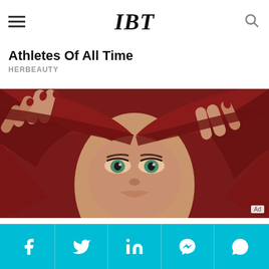IBT
Athletes Of All Time
HERBEAUTY
[Figure (photo): Woman with green eyes pulling a red knitted head covering around her face, looking at the camera. Ad badge visible bottom right.]
10 Gorgeous Asian Actresses No Man Can Resist
BRAINBERRIES